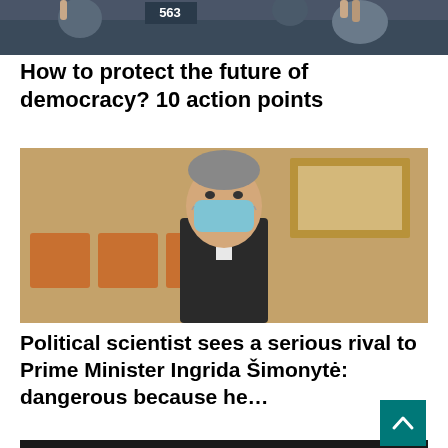[Figure (photo): Partial photo of European Parliament session with seat number 563 visible, people raising hands]
How to protect the future of democracy? 10 action points
[Figure (photo): Man in a suit wearing a blue face mask, seated in an auditorium with orange/wooden chairs in background, framed painting on wall]
Political scientist sees a serious rival to Prime Minister Ingrida Šimonytė: dangerous because he…
[Figure (photo): Woman with curly blonde hair and glasses, wearing black jacket, dark background with red accent, partially visible]